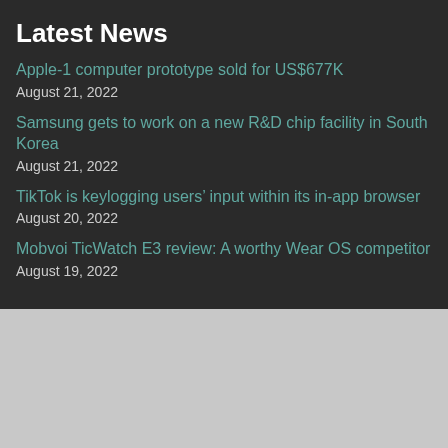Latest News
Apple-1 computer prototype sold for US$677K
August 21, 2022
Samsung gets to work on a new R&D chip facility in South Korea
August 21, 2022
TikTok is keylogging users' input within its in-app browser
August 20, 2022
Mobvoi TicWatch E3 review: A worthy Wear OS competitor
August 19, 2022